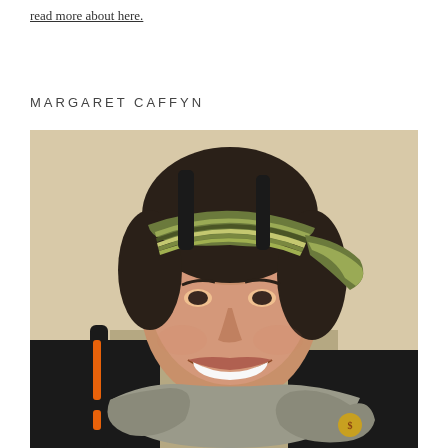read more about here.
MARGARET CAFFYN
[Figure (photo): Portrait photo of Margaret Caffyn, a woman wearing a striped headband, a grey scarf, and a dark jacket with a backpack. She is smiling at the camera. The background is a warm beige/cream tone.]